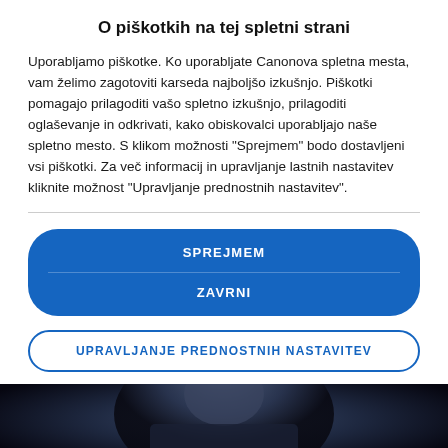O piškotkih na tej spletni strani
Uporabljamo piškotke. Ko uporabljate Canonova spletna mesta, vam želimo zagotoviti karseda najboljšo izkušnjo. Piškotki pomagajo prilagoditi vašo spletno izkušnjo, prilagoditi oglaševanje in odkrivati, kako obiskovalci uporabljajo naše spletno mesto. S klikom možnosti "Sprejmem" bodo dostavljeni vsi piškotki. Za več informacij in upravljanje lastnih nastavitev kliknite možnost "Upravljanje prednostnih nastavitev".
SPREJMEM
ZAVRNI
UPRAVLJANJE PREDNOSTNIH NASTAVITEV
[Figure (photo): Dark photo of a person, partially visible, dark background with blue tones]